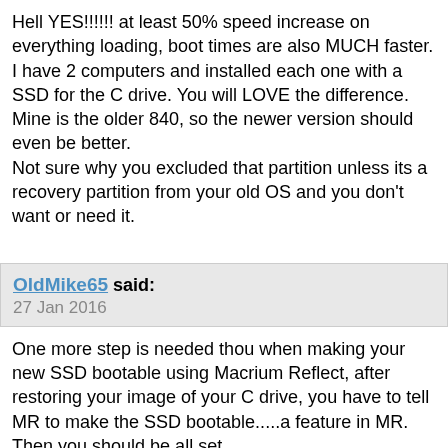Hell YES!!!!!! at least 50% speed increase on everything loading, boot times are also MUCH faster. I have 2 computers and installed each one with a SSD for the C drive. You will LOVE the difference. Mine is the older 840, so the newer version should even be better.
Not sure why you excluded that partition unless its a recovery partition from your old OS and you don't want or need it.
OldMike65 said:
27 Jan 2016
One more step is needed thou when making your new SSD bootable using Macrium Reflect, after restoring your image of your C drive, you have to tell MR to make the SSD bootable.....a feature in MR. Then you should be all set.
topgundcp said:
27 Jan 2016